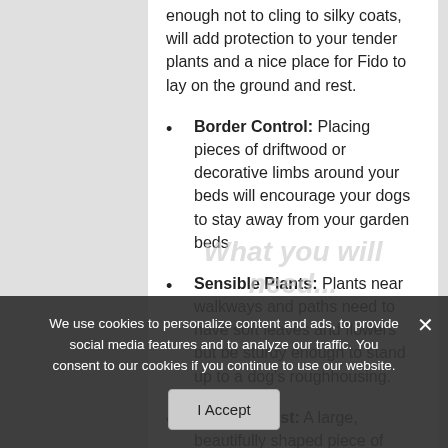enough not to cling to silky coats, will add protection to your tender plants and a nice place for Fido to lay on the ground and rest.
Border Control: Placing pieces of driftwood or decorative limbs around your beds will encourage your dogs to stay away from your garden beds
Sensible Plants: Plants near walkways and paths need to have soft leaves and flowers but be sturdy enough to stand up to a dog's roughhousing.
Marking Post: A large, beautifully shaped piece of driftwood can give your male dogs a place to mark their territory. It
We use cookies to personalize content and ads, to provide social media features and to analyze our traffic. You consent to our cookies if you continue to use our website.